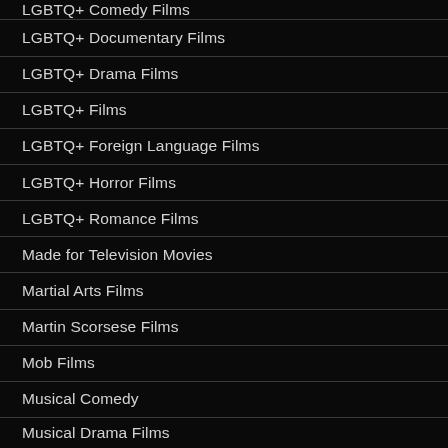LGBTQ+ Comedy Films
LGBTQ+ Documentary Films
LGBTQ+ Drama Films
LGBTQ+ Films
LGBTQ+ Foreign Language Films
LGBTQ+ Horror Films
LGBTQ+ Romance Films
Made for Television Movies
Martial Arts Films
Martin Scorsese Films
Mob Films
Musical Comedy
Musical Drama Films